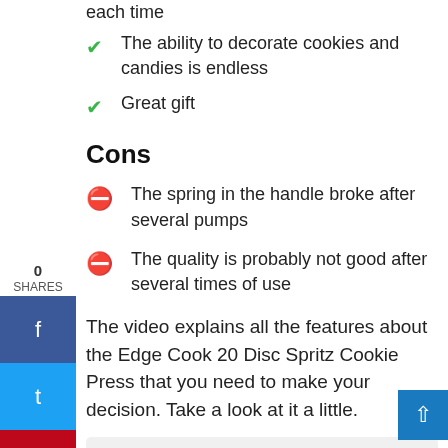each time
The ability to decorate cookies and candies is endless
Great gift
Cons
The spring in the handle broke after several pumps
The quality is probably not good after several times of use
The video explains all the features about the Edge Cook 20 Disc Spritz Cookie Press that you need to make your decision. Take a look at it a little.
Watch video: Edge Cook Spritz-Cookie-Press-Gun-Kit 20 Disc with 8 Icing Tips